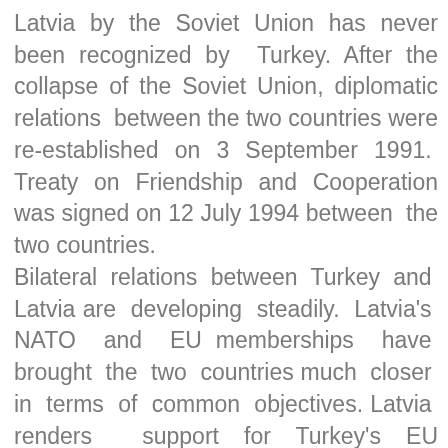Latvia by the Soviet Union has never been recognized by Turkey. After the collapse of the Soviet Union, diplomatic relations between the two countries were re-established on 3 September 1991. Treaty on Friendship and Cooperation was signed on 12 July 1994 between the two countries. Bilateral relations between Turkey and Latvia are developing steadily. Latvia's NATO and EU memberships have brought the two countries much closer in terms of common objectives. Latvia renders support for Turkey's EU membership. Reciprocal high level visits consolidates the developing relations in various fields. In this